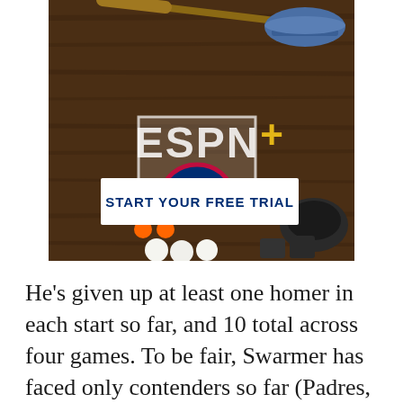[Figure (screenshot): ESPN+ advertisement with MLB logo on a dark wood background showing baseball equipment. A white button reads 'START YOUR FREE TRIAL' in bold navy text.]
He's given up at least one homer in each start so far, and 10 total across four games. To be fair, Swarmer has faced only contenders so far (Padres, Yankees,